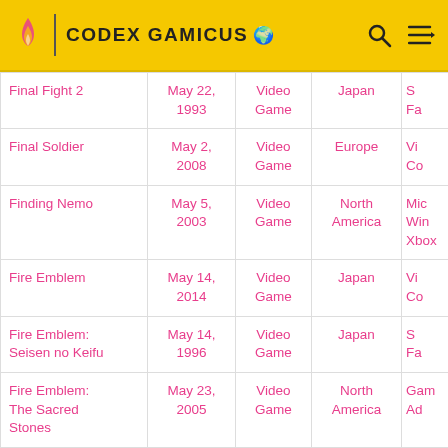CODEX GAMICUS
| Name | Date | Type | Region | Platform |
| --- | --- | --- | --- | --- |
| Final Fight 2 | May 22, 1993 | Video Game | Japan | S... Fa... |
| Final Soldier | May 2, 2008 | Video Game | Europe | Vi... Co... |
| Finding Nemo | May 5, 2003 | Video Game | North America | Mic... Win... Xbox... |
| Fire Emblem | May 14, 2014 | Video Game | Japan | Vi... Co... |
| Fire Emblem: Seisen no Keifu | May 14, 1996 | Video Game | Japan | S... Fa... |
| Fire Emblem: The Sacred Stones | May 23, 2005 | Video Game | North America | Gam... Ad... |
| Fish Tycoon | May 3, 2004 | Video Game | North America | Mic... Win... |